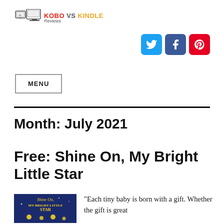[Figure (logo): Kobo vs Kindle Reviews logo with two e-reader device icons and text]
[Figure (infographic): Three social media icon buttons: Twitter (blue), Facebook (dark blue), Pinterest (red)]
MENU
Month: July 2021
Free: Shine On, My Bright Little Star
[Figure (photo): Book cover of 'Shine On, My Bright Little Star' with a dark blue starry night background and yellow star illustrations]
“Each tiny baby is born with a gift. Whether the gift is great